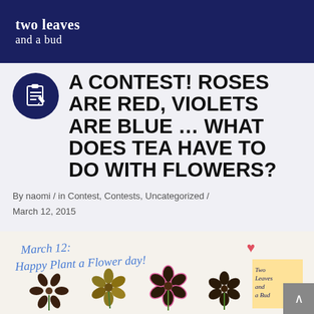two leaves and a bud
A CONTEST! ROSES ARE RED, VIOLETS ARE BLUE … WHAT DOES TEA HAVE TO DO WITH FLOWERS?
By naomi / in Contest, Contests, Uncategorized / March 12, 2015
[Figure (photo): Handmade flower artwork on paper reading 'March 12: Happy Plant a Flower day!' with four flower shapes made from pressed leaves/tea and a sticky note reading 'Two Leaves and a Bud']